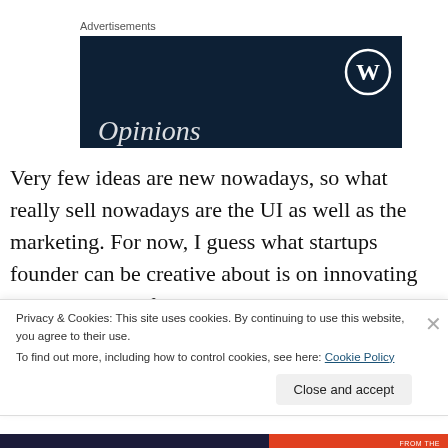Advertisements
[Figure (other): Advertisement banner with dark navy background, WordPress logo (W in circle) top right, and italic text 'Opinions' at the bottom left in white]
Very few ideas are new nowadays, so what really sell nowadays are the UI as well as the marketing. For now, I guess what startups founder can be creative about is on innovating the delivering of an existing business model, or
Privacy & Cookies: This site uses cookies. By continuing to use this website, you agree to their use.
To find out more, including how to control cookies, see here: Cookie Policy
Close and accept